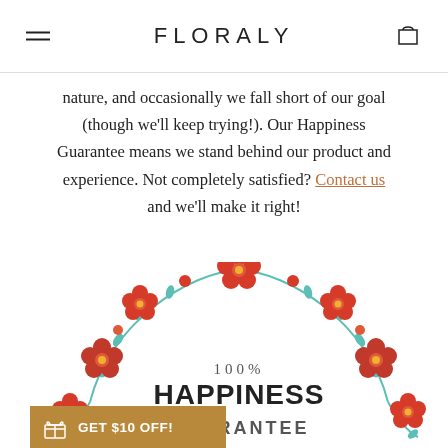FLORALY
nature, and occasionally we fall short of our goal (though we'll keep trying!). Our Happiness Guarantee means we stand behind our product and experience. Not completely satisfied? Contact us and we'll make it right!
[Figure (illustration): A circular floral wreath made of red/orange flowers with teal green leaves and stems, with text '100% HAPPINESS GUARANTEE' inside the wreath. A promotional banner at the bottom left reads 'GET $10 OFF!' with a gift icon.]